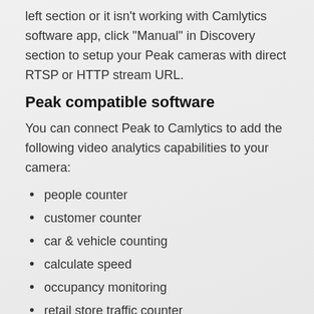left section or it isn't working with Camlytics software app, click "Manual" in Discovery section to setup your Peak cameras with direct RTSP or HTTP stream URL.
Peak compatible software
You can connect Peak to Camlytics to add the following video analytics capabilities to your camera:
people counter
customer counter
car & vehicle counting
calculate speed
occupancy monitoring
retail store traffic counter
motion detection & alerts
tailgating security